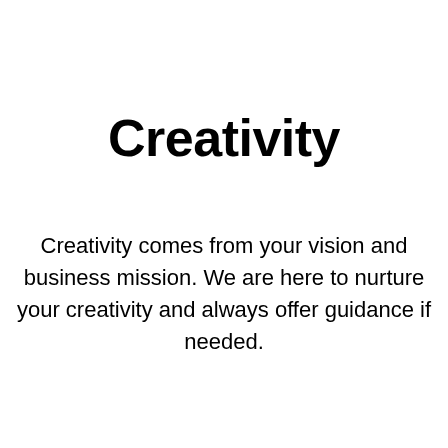Creativity
Creativity comes from your vision and business mission. We are here to nurture your creativity and always offer guidance if needed.